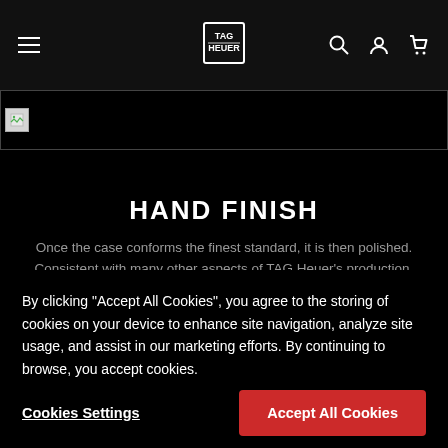TAG Heuer navigation bar with hamburger menu, logo, search, account, and cart icons
[Figure (photo): Full-width banner image that failed to load, showing a broken image icon]
HAND FINISH
Once the case conforms the finest standard, it is then polished. Consistent with many other aspects of TAG Heuer's production, the company utilises automated methods of polishing. In some
By clicking “Accept All Cookies”, you agree to the storing of cookies on your device to enhance site navigation, analyze site usage, and assist in our marketing efforts. By continuing to browse, you accept cookies.
Cookies Settings    Accept All Cookies